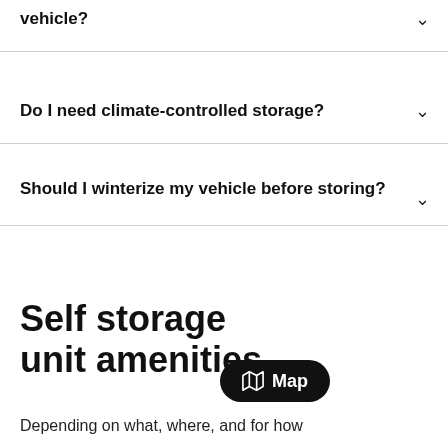vehicle?
Do I need climate-controlled storage?
Should I winterize my vehicle before storing?
Self storage unit amenities
Map
Depending on what, where, and for how